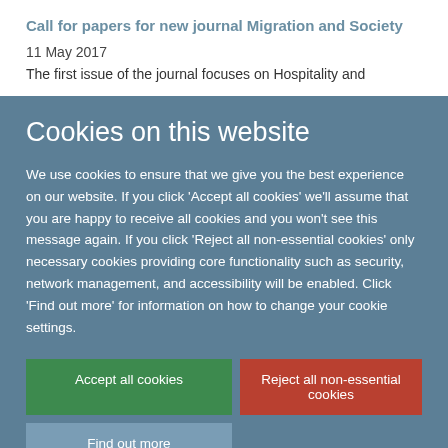Call for papers for new journal Migration and Society
11 May 2017
The first issue of the journal focuses on Hospitality and
Cookies on this website
We use cookies to ensure that we give you the best experience on our website. If you click 'Accept all cookies' we'll assume that you are happy to receive all cookies and you won't see this message again. If you click 'Reject all non-essential cookies' only necessary cookies providing core functionality such as security, network management, and accessibility will be enabled. Click 'Find out more' for information on how to change your cookie settings.
Accept all cookies
Reject all non-essential cookies
Find out more